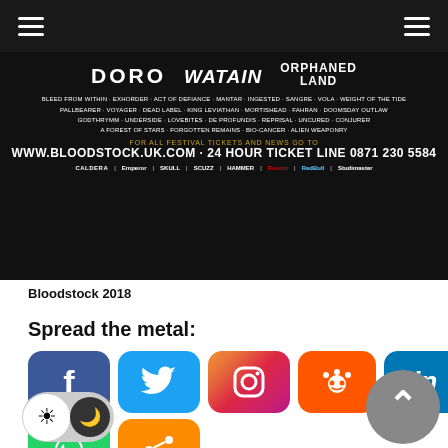Navigation header with hamburger menus
[Figure (photo): Bloodstock 2018 festival banner showing artist lineup including Doro, Watain, Orphaned Land and many others, with website URL www.bloodstock.uk.com and sponsor logos]
Bloodstock 2018
Spread the metal:
[Figure (infographic): Social media sharing buttons: Facebook, Twitter, Instagram, Reddit, LinkedIn, WhatsApp, Share]
FESTIVAL SUPPORTS 'DRASTIC ON PLASTIC' CAMPAIGN
GOOTS 'METAL 2 THE MASSES' INITIATIVE LAUNCHES GRAND FINALS